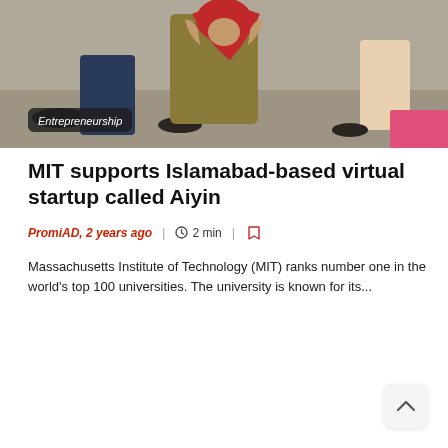[Figure (photo): A woman wearing a colorful headscarf and traditional South Asian clothing, photographed outdoors in a public space. An 'Entrepreneurship' category badge overlays the lower-left corner of the image.]
MIT supports Islamabad-based virtual startup called Aiyin
PromiAD, 2 years ago   |   2 min
Massachusetts Institute of Technology (MIT) ranks number one in the world's top 100 universities. The university is known for its...